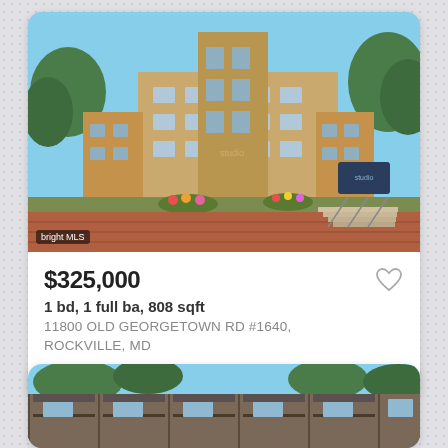[Figure (photo): Exterior photo of a multi-story condominium building with tan/beige facade, blue sky, trees, and landscaped courtyard with red brick pavement. 'bright MLS' watermark in bottom left.]
$325,000
1 bd, 1 full ba, 808 sqft
11800 OLD GEORGETOWN RD #1640, ROCKVILLE, MD
Courtesy of Compass
[Figure (photo): Exterior photo of a low-rise brick apartment or townhouse building with balconies and trees, blue sky visible at top.]